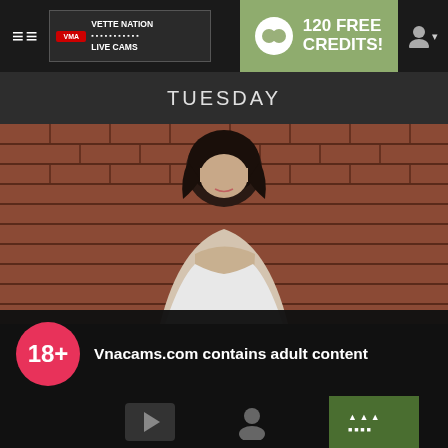≡  VETTE NATION LIVE CAMS   120 FREE CREDITS!
TUESDAY
[Figure (photo): Woman with dark curly hair in white top against brick wall background]
18+
Vnacams.com contains adult content
By using the site, you acknowledge you have read our Privacy Policy, and agree to our Terms and Conditions.
We use cookies to optimize your experience, analyze traffic, and deliver more personalized service. To learn more, please see our Privacy Policy.
I AGREE